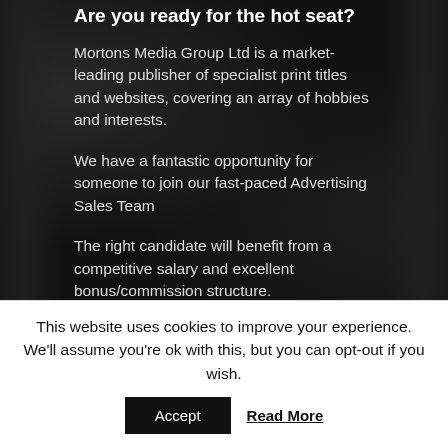Are you ready for the hot seat?
Mortons Media Group Ltd is a market-leading publisher of specialist print titles and websites, covering an array of hobbies and interests.
We have a fantastic opportunity for someone to join our fast-paced Advertising Sales Team
The right candidate will benefit from a competitive salary and excellent bonus/commission structure.
This website uses cookies to improve your experience. We'll assume you're ok with this, but you can opt-out if you wish.
Accept   Read More